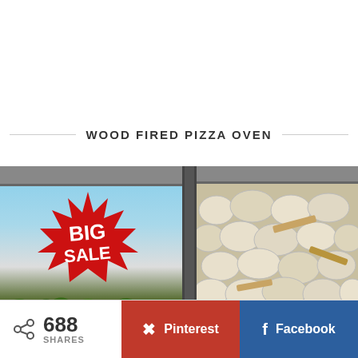WOOD FIRED PIZZA OVEN
[Figure (photo): Composite image: left panel shows a structure with awning/roof, blue sky, green plants, and a red BIG SALE starburst badge; center shows a dark metal pipe/chimney; right panel shows a stone wall with white/beige cobblestone pattern and wooden accents]
688 SHARES
Pinterest
Facebook